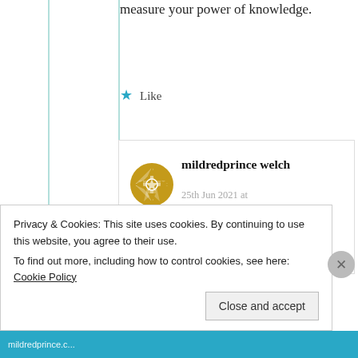measure your power of knowledge.
Like
mildredprince welch
25th Jun 2021 at 6:53 pm
Privacy & Cookies: This site uses cookies. By continuing to use this website, you agree to their use. To find out more, including how to control cookies, see here: Cookie Policy
Close and accept